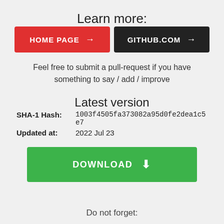Learn more:
[Figure (other): Two buttons side by side: HOME PAGE (red) with arrow, and GITHUB.COM (black) with arrow]
Feel free to submit a pull-request if you have something to say / add / improve
Latest version
| SHA-1 Hash: | 1003f4505fa373082a95d0fe2dea1c5e7 |
| Updated at: | 2022 Jul 23 |
[Figure (other): Green DOWNLOAD button with download icon]
Do not forget: